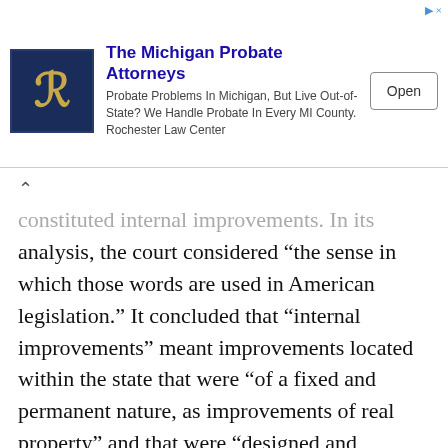[Figure (other): Advertisement banner for The Michigan Probate Attorneys / Rochester Law Center with logo, description text, and Open button]
constituted internal improvements. In its analysis, the court considered “the sense in which those words are used in American legislation.” It concluded that “internal improvements” meant improvements located within the state that were “of a fixed and permanent nature, as improvements of real property” and that were “designed and intended for the benefit of the public.”[30] Thus, any appropriation from this fund had to “be confined to permanent improvements of real property within the state, and for the benefit of the public.”[31]
Based upon the origins of the constitutional